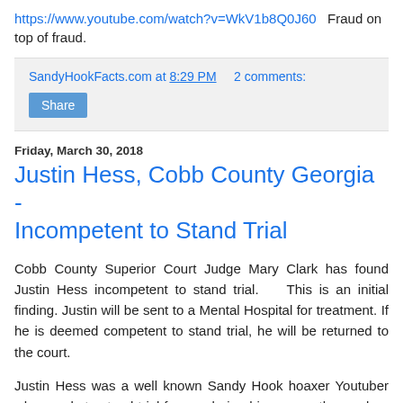https://www.youtube.com/watch?v=WkV1b8Q0J60  Fraud on top of fraud.
SandyHookFacts.com at 8:29 PM    2 comments:
Share
Friday, March 30, 2018
Justin Hess, Cobb County Georgia - Incompetent to Stand Trial
Cobb County Superior Court Judge Mary Clark has found Justin Hess incompetent to stand trial.    This is an initial finding. Justin will be sent to a Mental Hospital for treatment. If he is deemed competent to stand trial, he will be returned to the court.
Justin Hess was a well known Sandy Hook hoaxer Youtuber who needs to stand trial for murdering his own mother and an innocent school teacher.  Authorities were well aware of